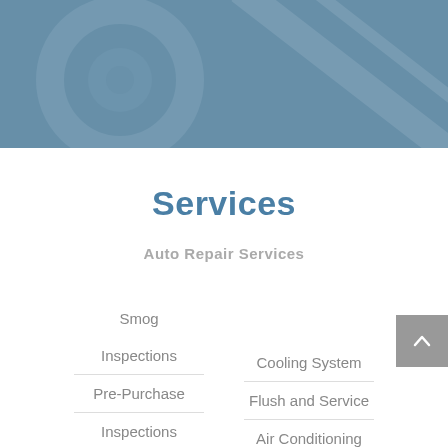[Figure (photo): Blue-tinted hero image of automotive/mechanical components (appears to show engine or car parts) with a steel-blue overlay]
Services
Auto Repair Services
Smog
Inspections
Pre-Purchase
Inspections
Cooling System
Flush and Service
Air Conditioning